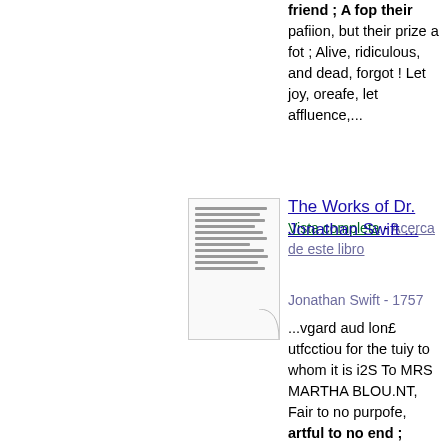friend ; A fop their pafiion, but their prize a fot ; Alive, ridiculous, and dead, forgot ! Let joy, oreafe, let affluence,...
Vista completa - Acerca de este libro
[Figure (illustration): Small thumbnail image of a book page with text lines]
The Works of Dr. Jonathan Swift ...
Jonathan Swift - 1757
...vgard aud lon£ utfcctiou for the tuiy to whom it is i2S To MRS MARTHA BLOU.NT, Fair to no purpofe, artful to no end ; Young without lovers, old without a friend ; A fop their